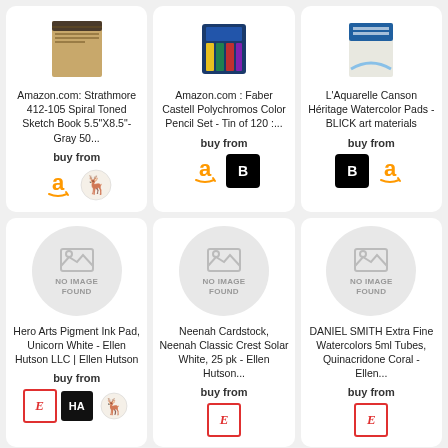[Figure (screenshot): Product card grid showing 6 shopping product cards and 3 partial cards at bottom. Row 1: Amazon Strathmore notebook, Faber Castell pencils, L'Aquarelle Canson watercolor pads. Row 2: Hero Arts Pigment Ink Pad, Neenah Cardstock, DANIEL SMITH Watercolors - all showing NO IMAGE FOUND. Row 3: partial cards visible.]